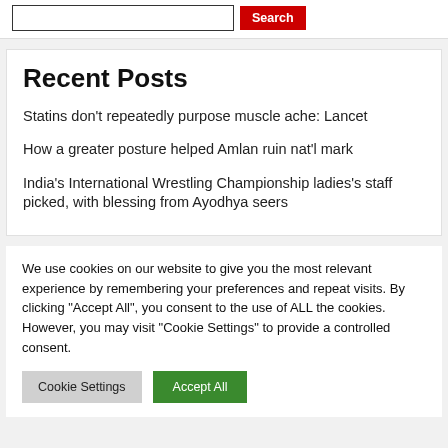Search
Recent Posts
Statins don't repeatedly purpose muscle ache: Lancet
How a greater posture helped Amlan ruin nat'l mark
India's International Wrestling Championship ladies's staff picked, with blessing from Ayodhya seers
We use cookies on our website to give you the most relevant experience by remembering your preferences and repeat visits. By clicking "Accept All", you consent to the use of ALL the cookies. However, you may visit "Cookie Settings" to provide a controlled consent.
Cookie Settings | Accept All